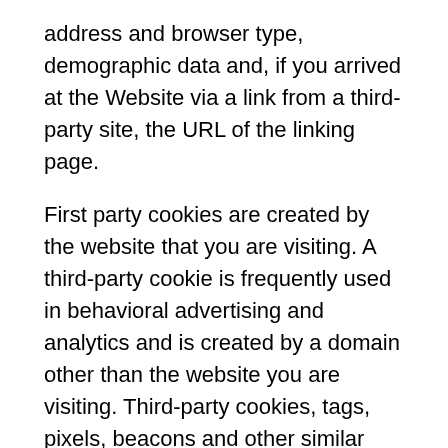address and browser type, demographic data and, if you arrived at the Website via a link from a third-party site, the URL of the linking page.
First party cookies are created by the website that you are visiting. A third-party cookie is frequently used in behavioral advertising and analytics and is created by a domain other than the website you are visiting. Third-party cookies, tags, pixels, beacons and other similar technologies (collectively, “Tags”) may be placed on the Website to monitor interaction with advertising content and to target and optimize advertising. Each internet browser has functionality so that you can block both first and third-party cookies and clear your browser’s cache. The “help”